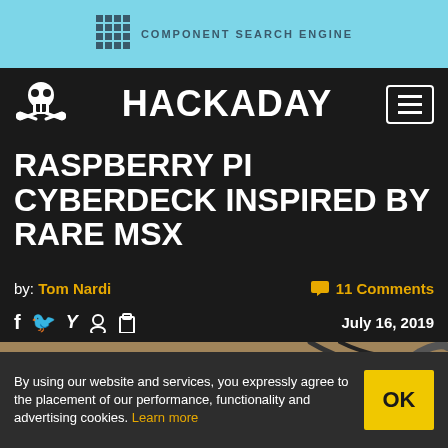COMPONENT SEARCH ENGINE
HACKADAY
RASPBERRY PI CYBERDECK INSPIRED BY RARE MSX
by: Tom Nardi  •  11 Comments
July 16, 2019
[Figure (photo): A Raspberry Pi cyberdeck device on a workbench, showing a small color screen, keyboard, and various electronics and cables]
By using our website and services, you expressly agree to the placement of our performance, functionality and advertising cookies. Learn more